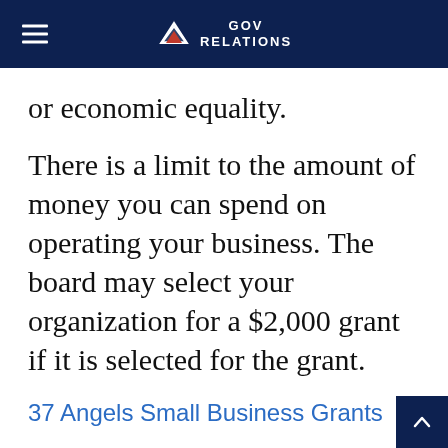GOV RELATIONS
or economic equality.
There is a limit to the amount of money you can spend on operating your business. The board may select your organization for a $2,000 grant if it is selected for the grant.
37 Angels Small Business Grants
The 37 Angels is a group that recognizes the disadvantages that women entrepreneurs have faced when they ha